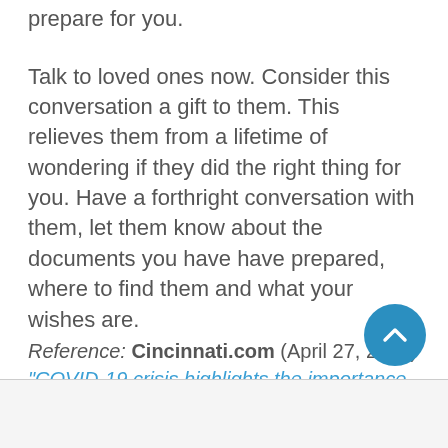prepare for you.
Talk to loved ones now. Consider this conversation a gift to them. This relieves them from a lifetime of wondering if they did the right thing for you. Have a forthright conversation with them, let them know about the documents you have have prepared, where to find them and what your wishes are.
Reference: Cincinnati.com (April 27, 2020) "COVID-19 crisis highlights the importance of completing advance directives"